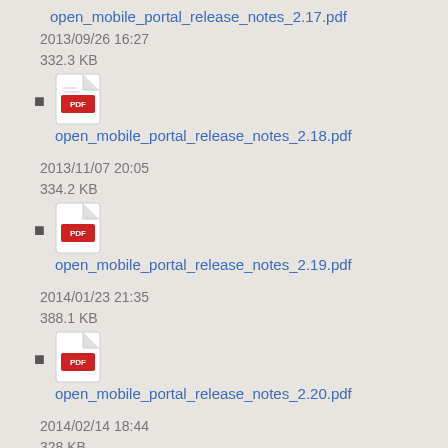open_mobile_portal_release_notes_2.17.pdf
2013/09/26 16:27
332.3 KB
open_mobile_portal_release_notes_2.18.pdf
2013/11/07 20:05
334.2 KB
open_mobile_portal_release_notes_2.19.pdf
2014/01/23 21:35
388.1 KB
open_mobile_portal_release_notes_2.20.pdf
2014/02/14 18:44
328 KB